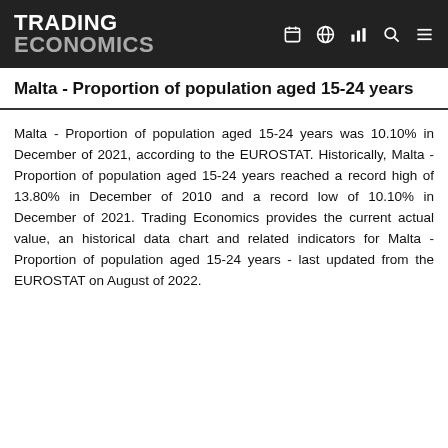TRADING ECONOMICS
Malta - Proportion of population aged 15-24 years
Malta - Proportion of population aged 15-24 years was 10.10% in December of 2021, according to the EUROSTAT. Historically, Malta - Proportion of population aged 15-24 years reached a record high of 13.80% in December of 2010 and a record low of 10.10% in December of 2021. Trading Economics provides the current actual value, an historical data chart and related indicators for Malta - Proportion of population aged 15-24 years - last updated from the EUROSTAT on August of 2022.